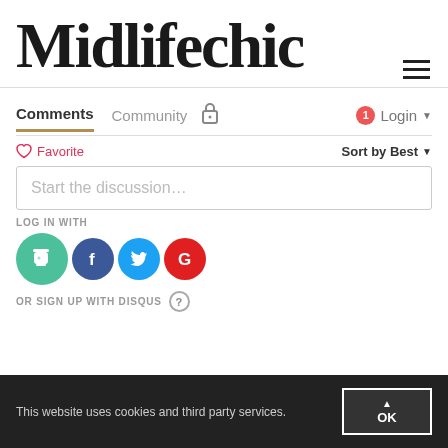Midlifechic
[Figure (screenshot): Disqus comment widget showing Comments, Community tabs, Favorite, Sort by Best, Start the discussion input, LOG IN WITH social icons (coffee cup, Facebook, Twitter, Google), OR SIGN UP WITH DISQUS]
This website uses cookies and third party services.